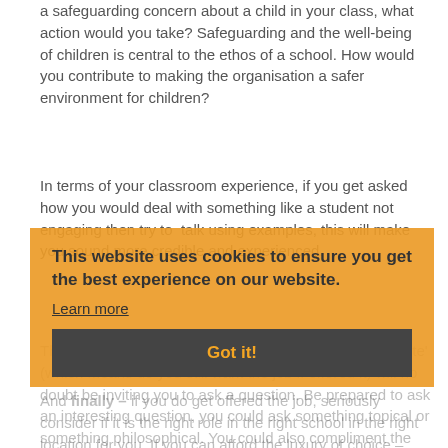a safeguarding concern about a child in your class, what action would you take? Safeguarding and the well-being of children is central to the ethos of a school. How would you contribute to making the organisation a safer environment for children?
In terms of your classroom experience, if you get asked how you would deal with something like a student not engaging then try to talk using examples, this will make you sound more credible and experienced.
The final question apart from 'are you still a firm candidate' (which means do you still want the job if offered it) will no doubt be inviting you to ask a question. Be prepared to ask an interesting question, you could ask something topical or something philosophical. You could also compliment the Headteacher on something. Be memorable but be 'teacher like'.
And finally – if you do get offered the job, seriously consider if it is the right role in the right school in the right location for you. If you can afford the luxury of choice – then choose wisely!
This website uses cookies to ensure you get the best experience on our website.
Learn more
[Got it!]